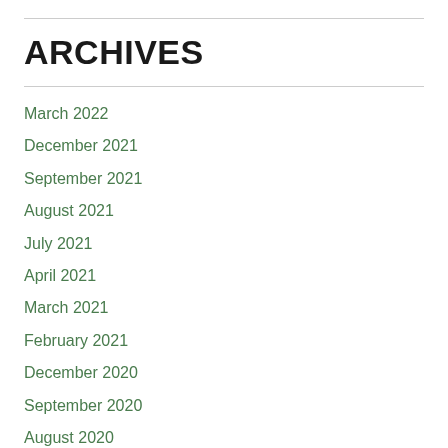ARCHIVES
March 2022
December 2021
September 2021
August 2021
July 2021
April 2021
March 2021
February 2021
December 2020
September 2020
August 2020